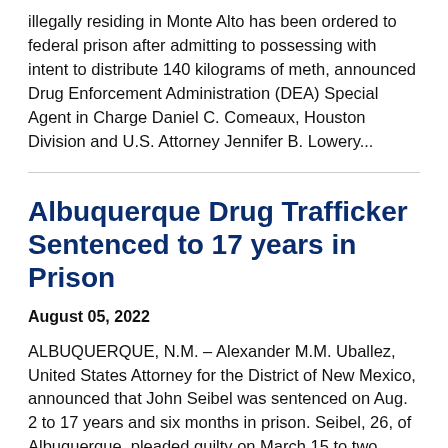illegally residing in Monte Alto has been ordered to federal prison after admitting to possessing with intent to distribute 140 kilograms of meth, announced Drug Enforcement Administration (DEA) Special Agent in Charge Daniel C. Comeaux, Houston Division and U.S. Attorney Jennifer B. Lowery...
Albuquerque Drug Trafficker Sentenced to 17 years in Prison
August 05, 2022
ALBUQUERQUE, N.M. – Alexander M.M. Uballez, United States Attorney for the District of New Mexico, announced that John Seibel was sentenced on Aug. 2 to 17 years and six months in prison. Seibel, 26, of Albuquerque, pleaded guilty on March 15 to two